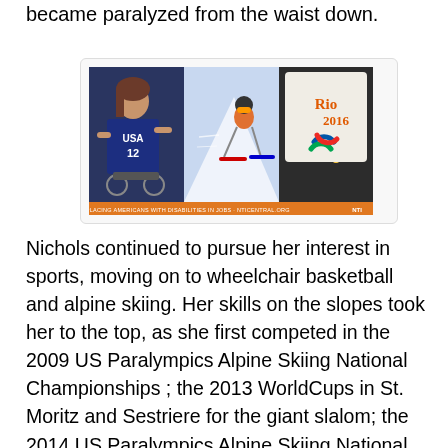became paralyzed from the waist down.
[Figure (photo): Composite image showing three athletes with disabilities: a wheelchair basketball player in a USA #12 jersey, an alpine skier, and a woman with a prosthetic arm, alongside the Rio 2016 Paralympic Games logo. Banner text reads: LEADERS IN PLACING AMERICANS WITH DISABILITIES IN JOBS - NTICENTRAL.ORG NTI]
Nichols continued to pursue her interest in sports, moving on to wheelchair basketball and alpine skiing. Her skills on the slopes took her to the top, as she first competed in the 2009 US Paralympics Alpine Skiing National Championships ; the 2013 WorldCups in St. Moritz and Sestriere for the giant slalom; the 2014 US Paralympics Alpine Skiing National Championships; and the Paralympic Games in 2008 and 2012 for wheelchair basketball and 2010 and 2014 for the giant slalom. However, at the Paralympic Games in Sochi in 2014, she had a scary crash, resulting in a dislocated jaw and concussion. She did overcome those injuries to go on to compete at the end of those Paralympic Games, but that was the end of her winter Paralympic